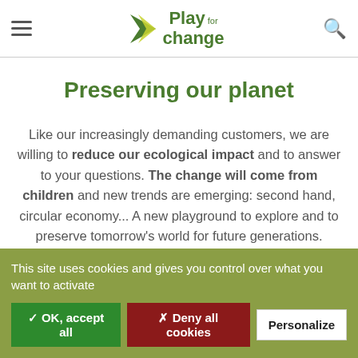Play for change
Preserving our planet
Like our increasingly demanding customers, we are willing to reduce our ecological impact and to answer to your questions. The change will come from children and new trends are emerging: second hand, circular economy... A new playground to explore and to preserve tomorrow's world for future generations.
This site uses cookies and gives you control over what you want to activate
✓ OK, accept all
✗ Deny all cookies
Personalize